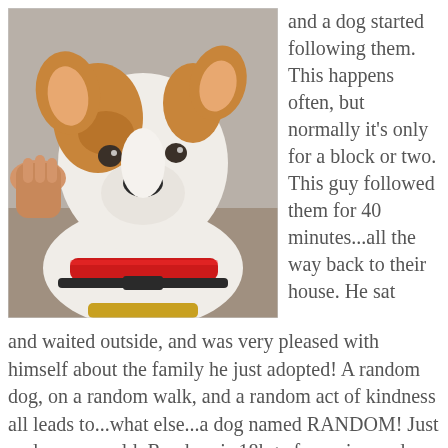[Figure (photo): Close-up photo of a young white and brown dog with a red collar, being petted by a human hand. The dog appears to be a mixed breed, possibly a terrier mix, with alert ears and a black nose.]
and a dog started following them. This happens often, but normally it's only for a block or two. This guy followed them for 40 minutes...all the way back to their house. He sat and waited outside, and was very pleased with himself about the family he just adopted! A random dog, on a random walk, and a random act of kindness all leads to...what else...a dog named RANDOM! Just under a year old, Random is 18kg of pure joy and fun. He is an active dog that will need a forever family who makes sure he gets enough exercise. Random has had a